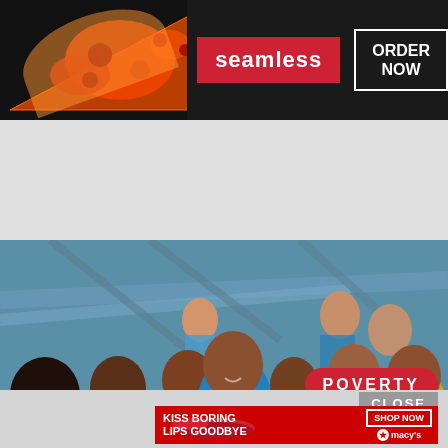[Figure (screenshot): Top banner advertisement for Seamless food delivery service showing pizza image on left, 'seamless' brand name in red box, and 'ORDER NOW' button with white border on dark background]
[Figure (photo): Large photograph of a group of smiling people of various ages in what appears to be an indoor market or public space. A red pill-shaped tag reading 'POVERTY' is overlaid in the upper right.]
[Figure (screenshot): Bottom advertisement for Macy's cosmetics with text 'KISS BORING LIPS GOODBYE', 'SHOP NOW' button, and Macy's star logo on red background. A 'CLOSE' button appears above it.]